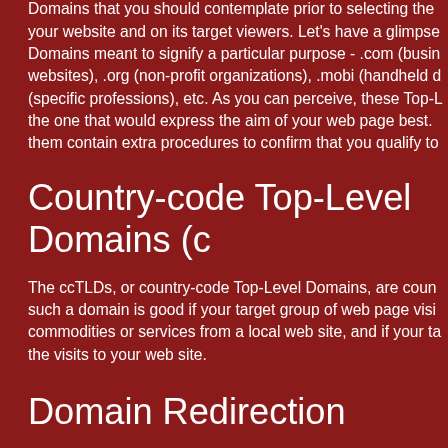Domains that you should contemplate prior to selecting the your website and on its target viewers. Let's have a glimpse Domains meant to signify a particular purpose - .com (busin websites), .org (non-profit organizations), .mobi (handheld d (specific professions), etc. As you can perceive, these Top-L the one that would express the aim of your web page best. them contain extra procedures to confirm that you qualify to
Country-code Top-Level Domains (c
The ccTLDs, or country-code Top-Level Domains, are coun such a domain is good if your target group of web page visi commodities or services from a local web site, and if your ta the visits to your web site.
Domain Redirection
You can register several domain names, which can redirect example. This would raise the traffic and lower the possibilit Second-Level Domain with another TLD - if you are not usin